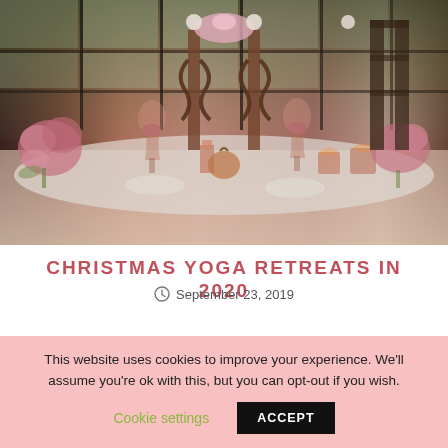[Figure (photo): A festively decorated Christmas dining table with pink flowers, wine glasses with rosé wine, candles, ornate ironwork chair with pink bow, and holiday table settings, photographed in front of large dark-paned windows.]
CHRISTMAS YOGA RETREATS IN 2020
September 23, 2019
This website uses cookies to improve your experience. We'll assume you're ok with this, but you can opt-out if you wish.
Cookie settings    ACCEPT